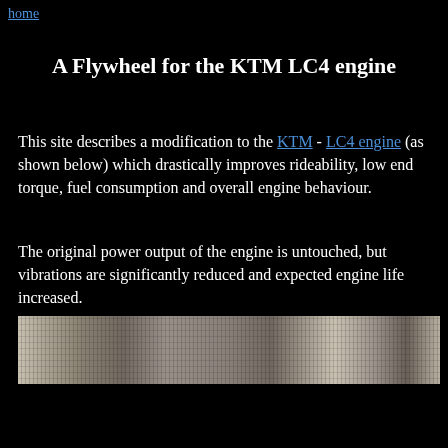home
A Flywheel for the KTM LC4 engine
This site describes a modification to the KTM - LC4 engine (as shown below) which drastically improves rideability, low end torque, fuel consumption and overall engine behaviour.
The original power output of the engine is untouched, but vibrations are significantly reduced and expected engine life increased.
[Figure (photo): Photograph of a KTM LC4 engine component, showing a metallic mechanical part with textured surfaces in grayscale]